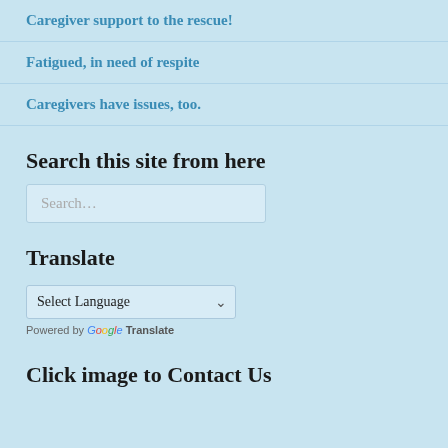Caregiver support to the rescue!
Fatigued, in need of respite
Caregivers have issues, too.
Search this site from here
Search…
Translate
Select Language
Powered by Google Translate
Click image to Contact Us